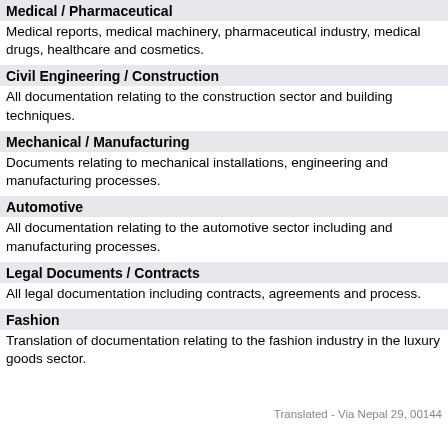Medical / Pharmaceutical
Medical reports, medical machinery, pharmaceutical industry, medical drugs, healthcare and cosmetics.
Civil Engineering / Construction
All documentation relating to the construction sector and building techniques.
Mechanical / Manufacturing
Documents relating to mechanical installations, engineering and manufacturing processes.
Automotive
All documentation relating to the automotive sector including and manufacturing processes.
Legal Documents / Contracts
All legal documentation including contracts, agreements and process.
Fashion
Translation of documentation relating to the fashion industry in the luxury goods sector.
Translated - Via Nepal 29, 00144